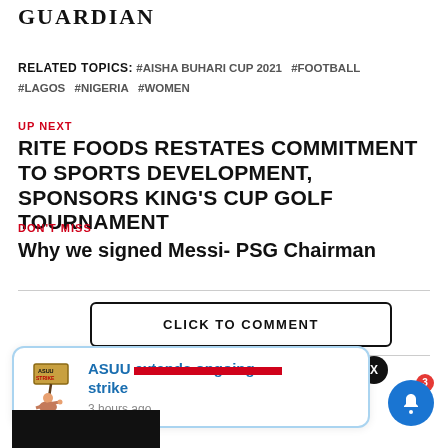GUARDIAN
RELATED TOPICS: #AISHA BUHARI CUP 2021 #FOOTBALL #LAGOS #NIGERIA #WOMEN
UP NEXT
RITE FOODS RESTATES COMMITMENT TO SPORTS DEVELOPMENT, SPONSORS KING'S CUP GOLF TOURNAMENT
DON'T MISS
Why we signed Messi- PSG Chairman
CLICK TO COMMENT
[Figure (illustration): ASUU notification popup with ASUU Strike illustration showing ASUU extends ongoing strike, 3 hours ago]
ASUU extends ongoing strike
3 hours ago